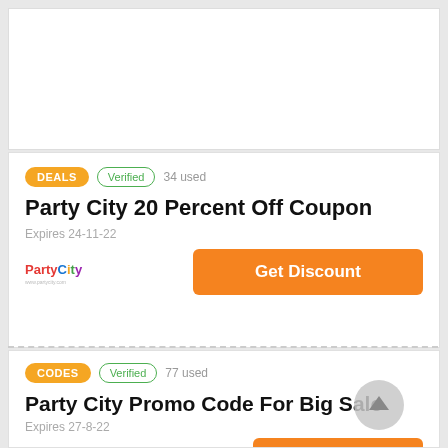[Figure (other): White ad banner placeholder area at the top]
DEALS · Verified · 34 used
Party City 20 Percent Off Coupon
Expires 24-11-22
Get Discount
CODES · Verified · 77 used
Party City Promo Code For Big Sale
Expires 27-8-22
Get Code